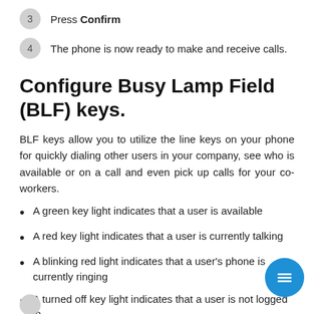3  Press Confirm
4  The phone is now ready to make and receive calls.
Configure Busy Lamp Field (BLF) keys.
BLF keys allow you to utilize the line keys on your phone for quickly dialing other users in your company, see who is available or on a call and even pick up calls for your co-workers.
A green key light indicates that a user is available
A red key light indicates that a user is currently talking
A blinking red light indicates that a user's phone is currently ringing
A turned off key light indicates that a user is not logged in